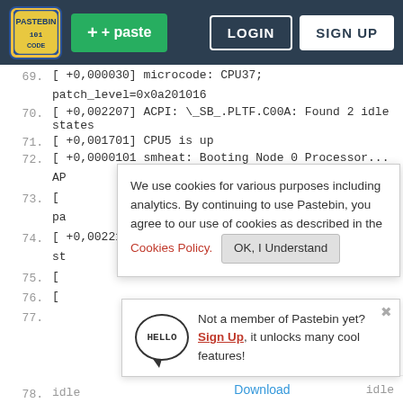[Figure (screenshot): Pastebin website header with logo, + paste button, LOGIN and SIGN UP buttons on dark background]
[ +0,000030] microcode: CPU37; patch_level=0x0a201016
70.  [ +0,002207] ACPI: \_SB_.PLTF.C00A: Found 2 idle states
71.  [ +0,001701] CPU5 is up
72.  [ +0,0000101 smheat: Booting Node 0 Processor...
AP
73.  [
pa
74.  [ +0,002218] ACPI: \_SB_.PLTF.C00C: Found 2 idle st
75.  [
76.  [
[Figure (screenshot): Cookie consent banner: 'We use cookies for various purposes including analytics. By continuing to use Pastebin, you agree to our use of cookies as described in the Cookies Policy. OK, I Understand']
[Figure (screenshot): Sign up popup with HELLO speech bubble: 'Not a member of Pastebin yet? Sign Up, it unlocks many cool features!']
[Figure (screenshot): Ad banner for 'They Are Coming!' game by Follic, with Download button]
77.
78.  idle
Download